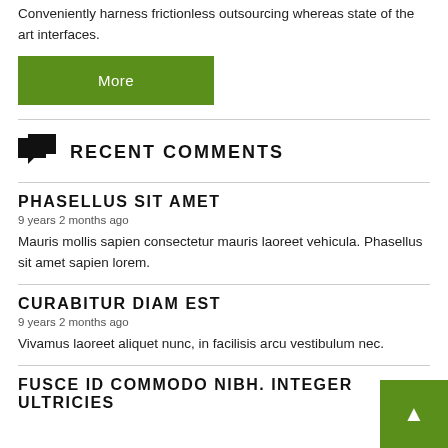Conveniently harness frictionless outsourcing whereas state of the art interfaces.
More
RECENT COMMENTS
PHASELLUS SIT AMET
9 years 2 months ago
Mauris mollis sapien consectetur mauris laoreet vehicula. Phasellus sit amet sapien lorem.
CURABITUR DIAM EST
9 years 2 months ago
Vivamus laoreet aliquet nunc, in facilisis arcu vestibulum nec.
FUSCE ID COMMODO NIBH. INTEGER ULTRICIES